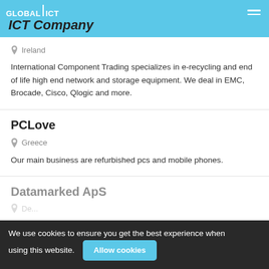Global ICT Connections
ICT Company
Ireland
International Component Trading specializes in e-recycling and end of life high end network and storage equipment. We deal in EMC, Brocade, Cisco, Qlogic and more.
PCLove
Greece
Our main business are refurbished pcs and mobile phones.
Datamarked ApS
De...
We use cookies to ensure you get the best experience when using this website.